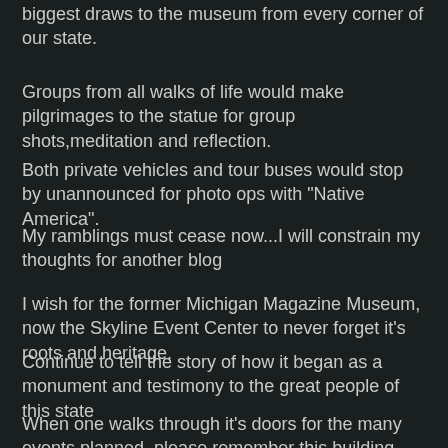biggest draws to the museum from every corner of our state.
Groups from all walks of life would make pilgrimages to the statue for group shots,meditation and reflection.
Both private vehicles and tour buses would stop by unannounced for photo ops with "Native America".
My ramblings must cease now...I will constrain my thoughts for another blog
I wish for the former Michigan Magazine Museum, now the Skyline Event Center to never forget it's roots and heritage.
Continue to tell the story of how it began as a monument and testimony to the great people of this state
When one walks through it's doors for the many events planned, please remember this building remains for everyone to appreciate only through the hard work by volunteers along the way with unending community support...
Please keep the "Spirit of Michigan" alive at this special